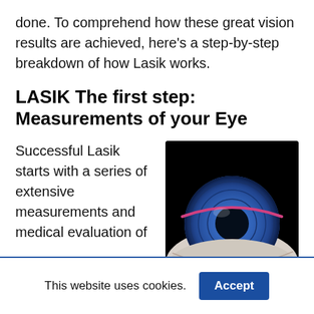done. To comprehend how these great vision results are achieved, here's a step-by-step breakdown of how Lasik works.
LASIK The first step: Measurements of your Eye
Successful Lasik starts with a series of extensive measurements and medical evaluation of
[Figure (photo): Close-up illustration of a human eye with blue iris and a pink/red curved line across the cornea, on a dark background]
This website uses cookies.
Accept